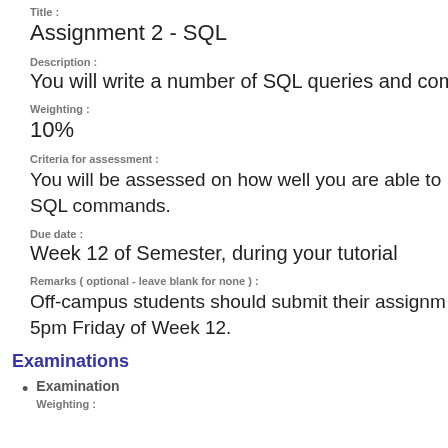Title :
Assignment 2 - SQL
Description :
You will write a number of SQL queries and com
Weighting :
10%
Criteria for assessment :
You will be assessed on how well you are able to SQL commands.
Due date :
Week 12 of Semester, during your tutorial
Remarks ( optional - leave blank for none ) :
Off-campus students should submit their assignm 5pm Friday of Week 12.
Examinations
Examination
Weighting :